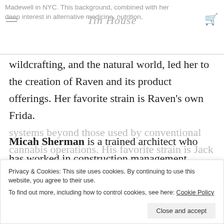Madewell in NYC. This background, combined with her deep interest in alternative medicine, nutrition, Tin House
wildcrafting, and the natural world, led her to the creation of Raven and its product offerings. Her favorite strain is Raven's own Frida.
Micah Sherman is a trained architect who has worked in construction management, technical design for the modern luxury furniture brand Poliform, and as Operations Director for Hailey Development Group. His
systems beyond those used by conventional cannabis operations. His favorite strain is Jack Herer.
Privacy & Cookies: This site uses cookies. By continuing to use this website, you agree to their use.
To find out more, including how to control cookies, see here: Cookie Policy
Close and accept